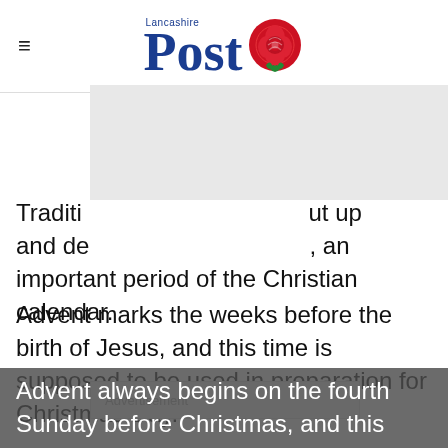Lancashire Post
[Figure (other): Advertisement placeholder block (grey rectangle)]
Traditi… ut up and de… , an important period of the Christian calendar.
Advent marks the weeks before the birth of Jesus, and this time is supposed to be used in preparation for Christmas Day.
Advertisement
Advent always begins on the fourth Sunday before Christmas, and this year that falls on